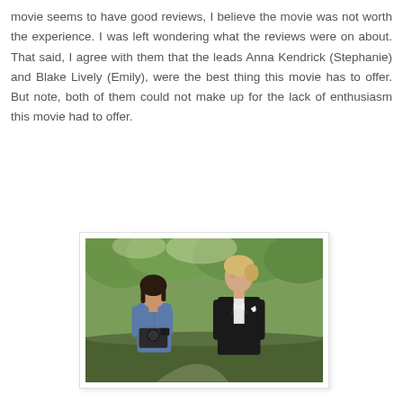movie seems to have good reviews, I believe the movie was not worth the experience. I was left wondering what the reviews were on about. That said, I agree with them that the leads Anna Kendrick (Stephanie) and Blake Lively (Emily), were the best thing this movie has to offer. But note, both of them could not make up for the lack of enthusiasm this movie had to offer.
[Figure (photo): A still from a movie showing two women outdoors in a park-like setting. On the left is a woman with dark hair holding a camera/DSLR, wearing a denim jacket. On the right is a taller blonde woman wearing a black suit with a white bow tie, looking to the side.]